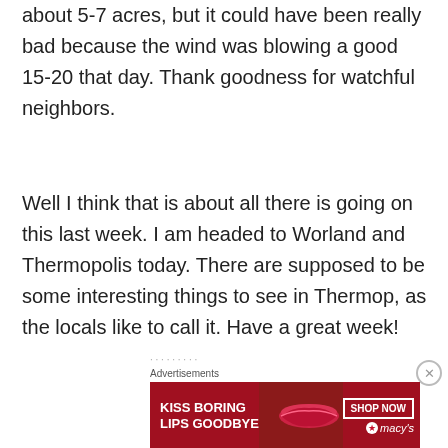about 5-7 acres, but it could have been really bad because the wind was blowing a good 15-20 that day. Thank goodness for watchful neighbors.
Well I think that is about all there is going on this last week. I am headed to Worland and Thermopolis today. There are supposed to be some interesting things to see in Thermop, as the locals like to call it. Have a great week!
Advertisements
[Figure (other): Advertisement banner for Macy's lipstick — red background with woman's face, text 'KISS BORING LIPS GOODBYE', SHOP NOW button, and Macy's star logo]